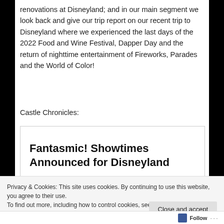renovations at Disneyland; and in our main segment we look back and give our trip report on our recent trip to Disneyland where we experienced the last days of the 2022 Food and Wine Festival, Dapper Day and the return of nighttime entertainment of Fireworks, Parades and the World of Color!
Castle Chronicles:
[Figure (screenshot): Embedded article card with bold title 'Fantasmic! Showtimes Announced for Disneyland' and a dark photo preview below with partial text 'Disney just']
Privacy & Cookies: This site uses cookies. By continuing to use this website, you agree to their use.
To find out more, including how to control cookies, see here: Cookie Policy
Close and accept